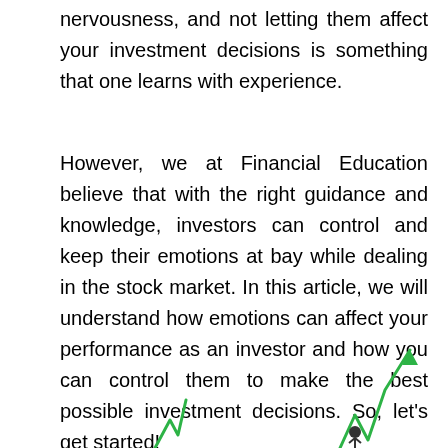nervousness, and not letting them affect your investment decisions is something that one learns with experience.
However, we at Financial Education believe that with the right guidance and knowledge, investors can control and keep their emotions at bay while dealing in the stock market. In this article, we will understand how emotions can affect your performance as an investor and how you can control them to make the best possible investment decisions. So, let's get started!
[Figure (illustration): Partial illustration showing green stock market line charts rising upward, with a small figure of a person visible at the bottom right area of the image.]